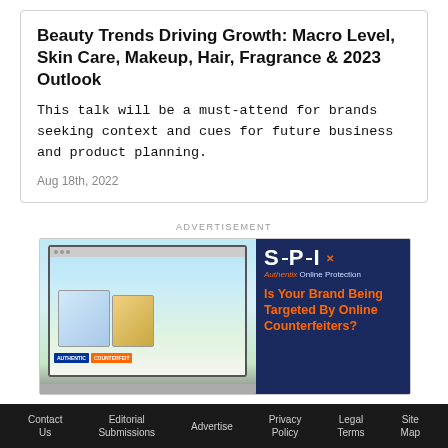Beauty Trends Driving Growth: Macro Level, Skin Care, Makeup, Hair, Fragrance & 2023 Outlook
This talk will be a must-attend for brands seeking context and cues for future business and product planning.
Aug 18th, 2022
ADVERTISEMENT
[Figure (illustration): Advertisement for SIPI Authentix Online Protection showing a laptop with authentic vs counterfeit product comparison and the text 'Is Your Brand Being Targeted By Online Counterfeiters?']
Let the Experts at SIPI Help.
Contact Us   Editorial Submissions   Advertise   Privacy Policy   Legal Terms   Site Map